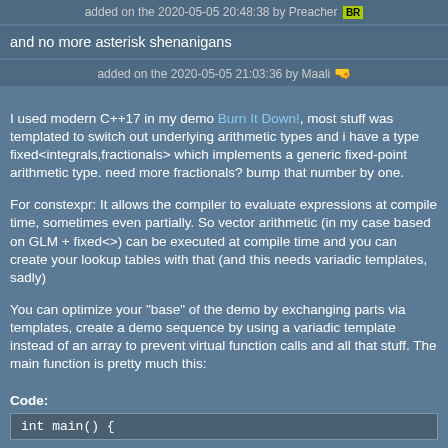added on the 2020-05-05 20:48:38 by Preacher BR
and no more asterisk shenanigans
added on the 2020-05-05 21:03:36 by Maali
I used modern C++17 in my demo Burn It Down!, most stuff was templated to switch out underlying arithmetic types and i have a type fixed<integrals,fractionals> which implements a generic fixed-point arithmetic type. need more fractionals? bump that number by one.

For constexpr: It allows the compiler to evaluate expressions at compile time, sometimes even partially. So vector arithmetic (in my case based on GLM + fixed<>) can be executed at compile time and you can create your lookup tables with that (and this needs variadic templates, sadly)

You can optimize your "base" of the demo by exchanging parts via templates, create a demo sequence by using a variadic template instead of an array to prevent virtual function calls and all that stuff. The main function is pretty much this:
Code:
int main() {